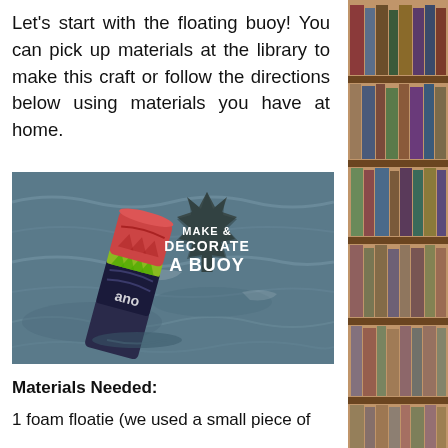Let's start with the floating buoy! You can pick up materials at the library to make this craft or follow the directions below using materials you have at home.
[Figure (photo): A decorated foam buoy floating in water with text overlay reading 'MAKE & DECORATE A BUOY' on a dark starburst badge]
Materials Needed:
1 foam floatie (we used a small piece of